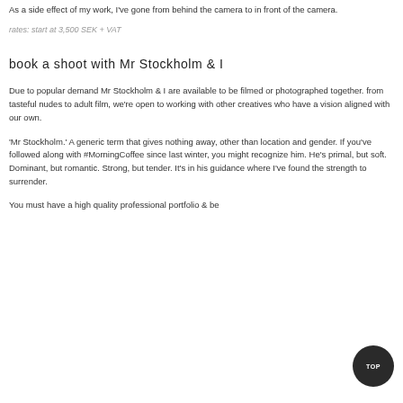As a side effect of my work, I've gone from behind the camera to in front of the camera.
rates: start at 3,500 SEK + VAT
book a shoot with Mr Stockholm & I
Due to popular demand Mr Stockholm & I are available to be filmed or photographed together. from tasteful nudes to adult film, we're open to working with other creatives who have a vision aligned with our own.
'Mr Stockholm.' A generic term that gives nothing away, other than location and gender. If you've followed along with #MorningCoffee since last winter, you might recognize him. He's primal, but soft. Dominant, but romantic. Strong, but tender. It's in his guidance where I've found the strength to surrender.
You must have a high quality professional portfolio & be